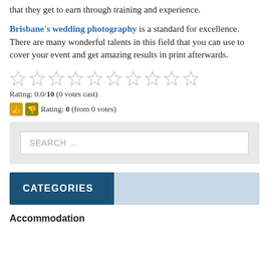that they get to earn through training and experience.
Brisbane's wedding photography is a standard for excellence. There are many wonderful talents in this field that you can use to cover your event and get amazing results in print afterwards.
[Figure (other): Ten empty star rating icons (0 out of 10 stars)]
Rating: 0.0/10 (0 votes cast)
Rating: 0 (from 0 votes)
[Figure (screenshot): Search box with placeholder text SEARCH …]
CATEGORIES
Accommodation